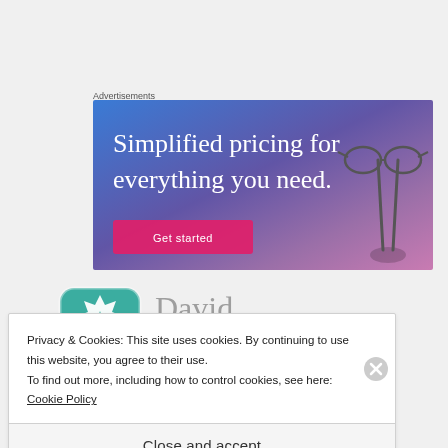Advertisements
[Figure (illustration): Advertisement banner with gradient blue-purple background. Text reads 'Simplified pricing for everything you need.' with a pink button and a hand holding glasses in the bottom right.]
[Figure (logo): Teal geometric cross/star pattern logo icon for user 'David']
David
10/05/2016 AT 15:23
Privacy & Cookies: This site uses cookies. By continuing to use this website, you agree to their use.
To find out more, including how to control cookies, see here: Cookie Policy
Close and accept